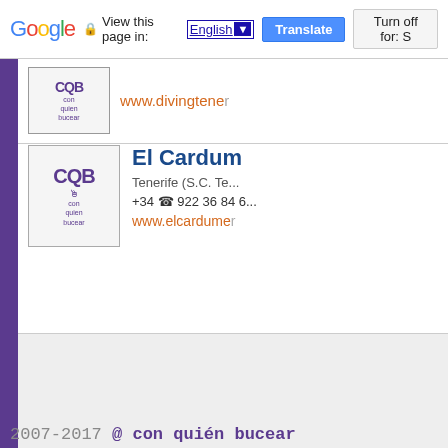Google | View this page in: English | Translate | Turn off for: S
[Figure (logo): CQB con quien bucear logo - partially visible top listing]
www.divingtene...
[Figure (logo): CQB con quien bucear logo for El Cardum listing]
El Cardum
Tenerife (S.C. Te...
+34 ☎ 922 36 84 6...
www.elcardume...
[Figure (other): Advertisement/banner gray area]
BUCEAR EN :
Álava - Albacete - Alicante - Almería - Asturias - Ávila - Badajoz - B... Córdoba - Cuenca - Gerona - Granada - Guadalajara - Guipúzcoa - Huel... Melilla - Murcia - Navarra - Orense - Palencia - Pontevedra - S.C. Ten... Vizcaya - Zamora - Zaragoza - La Palma - La Gomera - El Hierro - T...
2007-2017 @ con quién bucear